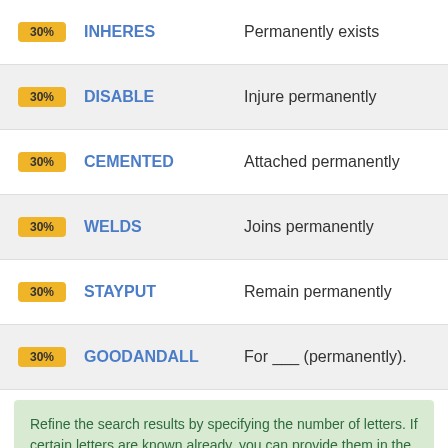30% INHERES — Permanently exists
30% DISABLE — Injure permanently
30% CEMENTED — Attached permanently
30% WELDS — Joins permanently
30% STAYPUT — Remain permanently
30% GOODANDALL — For ___ (permanently).
Refine the search results by specifying the number of letters. If certain letters are known already, you can provide them in the form of a pattern: "CA????".
Recent Clues